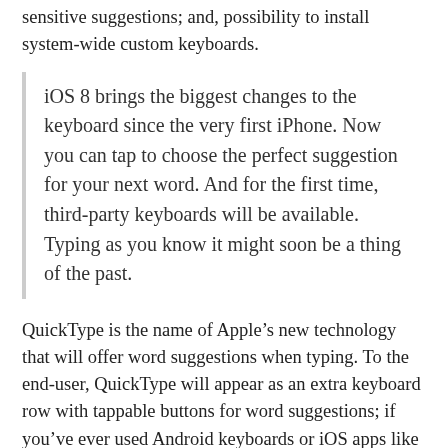sensitive suggestions; and, possibility to install system-wide custom keyboards.
iOS 8 brings the biggest changes to the keyboard since the very first iPhone. Now you can tap to choose the perfect suggestion for your next word. And for the first time, third-party keyboards will be available. Typing as you know it might soon be a thing of the past.
QuickType is the name of Apple’s new technology that will offer word suggestions when typing. To the end-user, QuickType will appear as an extra keyboard row with tappable buttons for word suggestions; if you’ve ever used Android keyboards or iOS apps like SwiftKey, the system will look familiar. Apple’s QuickType will, unlike